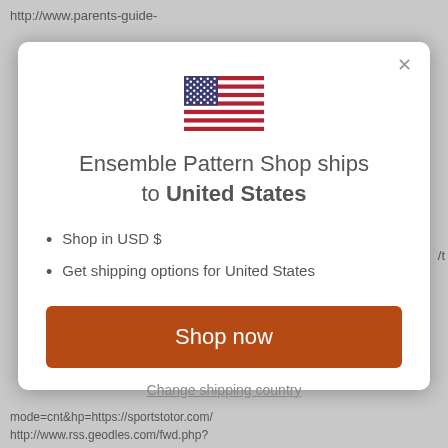http://www.parents-guide-
[Figure (illustration): US flag icon rendered in SVG]
Ensemble Pattern Shop ships to United States
Shop in USD $
Get shipping options for United States
Shop now
Change shipping country
mode=cnt&hp=https://sportstotor.com/ http://www.rss.geodles.com/fwd.php?